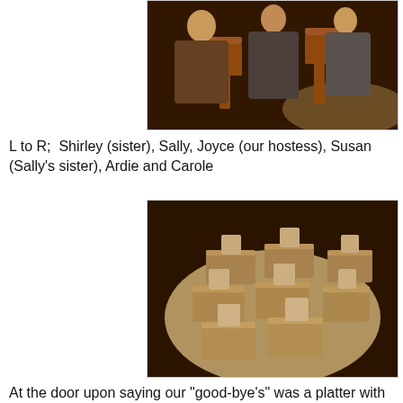[Figure (photo): People standing around a table with wooden chairs in a dimly lit restaurant setting]
L to R;  Shirley (sister), Sally, Joyce (our hostess), Susan (Sally’s sister), Ardie and Carole
[Figure (photo): A platter on a round white plate holding multiple small gift boxes or favors with decorative tags, photographed in warm dim lighting]
At the door upon saying our "good-bye's" was a platter with